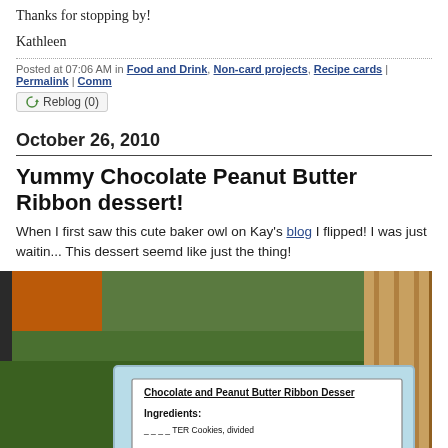Thanks for stopping by!
Kathleen
Posted at 07:06 AM in Food and Drink, Non-card projects, Recipe cards | Permalink | Comm...
Reblog (0)
October 26, 2010
Yummy Chocolate Peanut Butter Ribbon dessert!
When I first saw this cute baker owl on Kay's blog I flipped! I was just waitin... This dessert seemd like just the thing!
[Figure (photo): Photo of a recipe card for Chocolate and Peanut Butter Ribbon Dessert placed outdoors on a table, with playground equipment visible in the background. The recipe card has a light blue border and shows the title 'Chocolate and Peanut Butter Ribbon Dessert' with 'Ingredients:' visible below.]